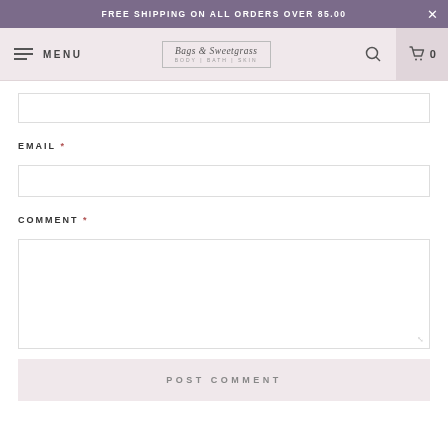FREE SHIPPING ON ALL ORDERS OVER 85.00
[Figure (screenshot): Navigation bar with hamburger menu labeled MENU, Bags & Sweetgrass logo with BODY | BATH | SKIN subtitle, search icon, and cart icon with 0 count]
EMAIL *
COMMENT *
POST COMMENT